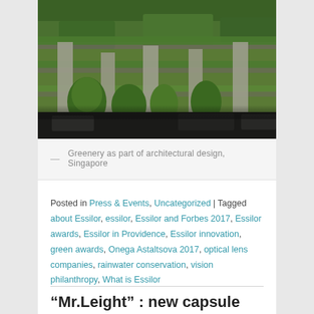[Figure (photo): A building with green vegetation/plants covering its exterior and rooftop levels, with large concrete columns, trees in front, and cars parked at the bottom. Singapore architectural photo.]
— Greenery as part of architectural design, Singapore
Posted in Press & Events, Uncategorized | Tagged about Essilor, essilor, Essilor and Forbes 2017, Essilor awards, Essilor in Providence, Essilor innovation, green awards, Onega Astaltsova 2017, optical lens companies, rainwater conservation, vision philanthropy, What is Essilor
“Mr.Leight” : new capsule